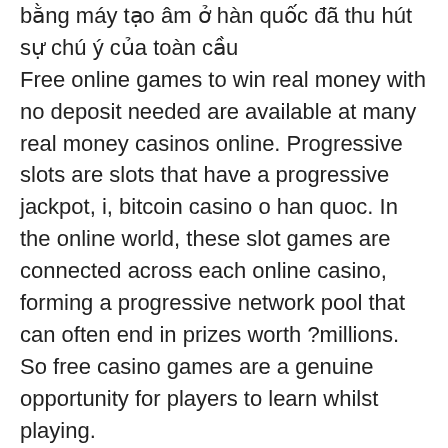bằng máy tạo âm ở hàn quốc đã thu hút sự chú ý của toàn cầu
Free online games to win real money with no deposit needed are available at many real money casinos online. Progressive slots are slots that have a progressive jackpot, i, bitcoin casino o han quoc. In the online world, these slot games are connected across each online casino, forming a progressive network pool that can often end in prizes worth ?millions. So free casino games are a genuine opportunity for players to learn whilst playing.
Bitcoin casino winners:
Jack's Beanstalk - 491.8 btc
Mystery Jack - 145.2 bch
Monster Munchies - 328.2 usdt
Heroes' Realm - 476.4 bch
Wild Wishes - 201.5 dog
Wild Jester - 31.7 btc
Agent Jane Blonde - 481.6 bch